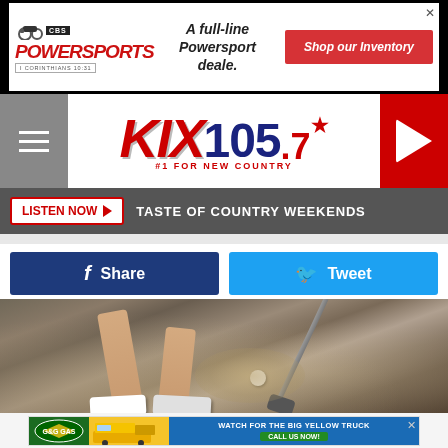[Figure (screenshot): CBS Powersports advertisement banner: 'A full-line Powersport deale.' with red Shop our Inventory button]
[Figure (logo): KIX 105.7 radio station header with menu button on left and play button on right. #1 FOR NEW COUNTRY tagline.]
LISTEN NOW ▶  TASTE OF COUNTRY WEEKENDS
[Figure (screenshot): Facebook Share button (dark blue) and Twitter Tweet button (light blue) side by side]
[Figure (photo): Golf player hitting a shot from a sand bunker - legs and club visible, sand spray in air]
Sedalia School District 200
[Figure (screenshot): G&G Gas advertisement: WATCH FOR THE BIG YELLOW TRUCK - CALL US NOW!]